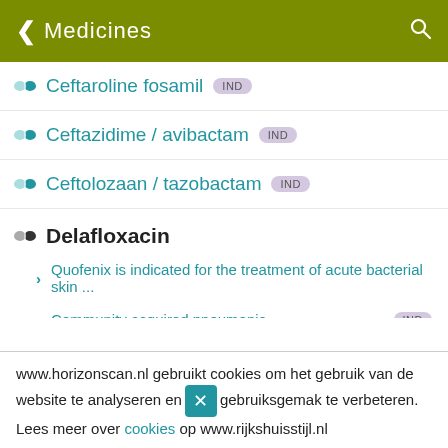Medicines
Ceftaroline fosamil IND
Ceftazidime / avibactam IND
Ceftolozaan / tazobactam IND
Delafloxacin
Quofenix is indicated for the treatment of acute bacterial skin ...
Community acquired pneumonia IND
Iclaprim
Imipenem / cilastatin / relebactam
www.horizonscan.nl gebruikt cookies om het gebruik van de website te analyseren en het gebruiksgemak te verbeteren. Lees meer over cookies op www.rijkshuisstijl.nl